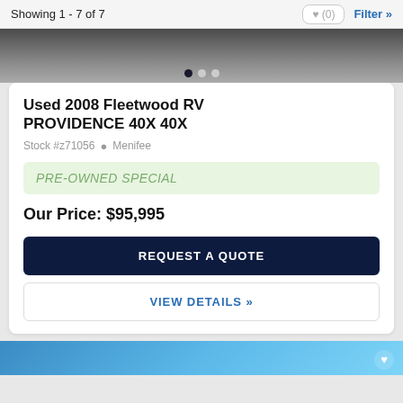Showing 1 - 7 of 7
[Figure (photo): Top portion of an RV listing photo, dark pavement visible]
Used 2008 Fleetwood RV PROVIDENCE 40X 40X
Stock #z71056  Menifee
PRE-OWNED SPECIAL
Our Price: $95,995
REQUEST A QUOTE
VIEW DETAILS »
[Figure (photo): Bottom portion of next RV listing photo, blue sky visible]